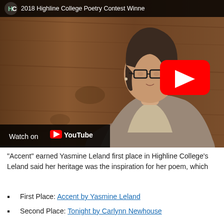[Figure (screenshot): YouTube video thumbnail showing a young woman with glasses and short brown hair against a wood-panel background. Title bar reads '2018 Highline College Poetry Contest Winne...' with Highline College HC logo. A red YouTube play button overlays the center-right. Bottom-left shows 'Watch on YouTube' bar.]
“Accent” earned Yasmine Leland first place in Highline College’s Leland said her heritage was the inspiration for her poem, which
First Place: Accent by Yasmine Leland
Second Place: Tonight by Carlynn Newhouse